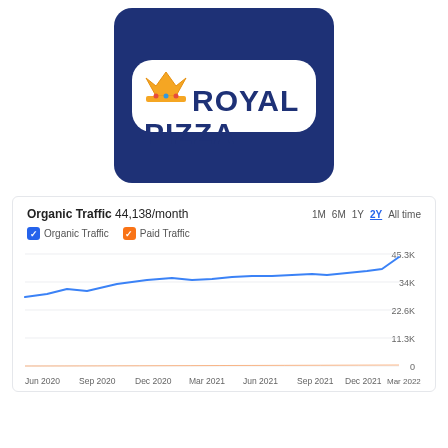[Figure (logo): Royal Pizza logo: dark navy blue rounded rectangle background with a white pill-shaped banner containing a gold crown icon and 'ROYAL PIZZA' text in dark navy bold uppercase letters]
Organic Traffic 44,138/month
1M 6M 1Y 2Y All time
Organic Traffic  Paid Traffic
[Figure (line-chart): Organic Traffic over 2 years]